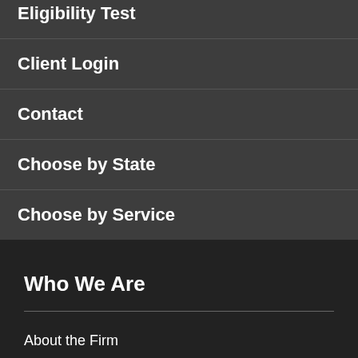Eligibility Test
Client Login
Contact
Choose by State
Choose by Service
Who We Are
About the Firm
Our Attorneys